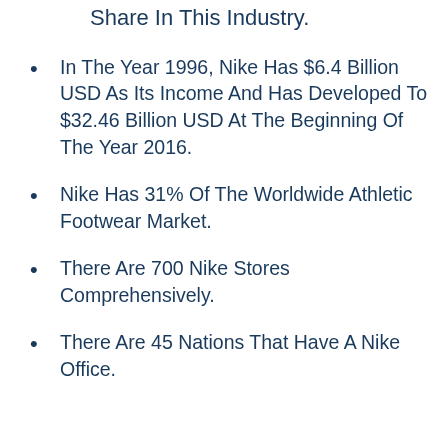Share In This Industry.
In The Year 1996, Nike Has $6.4 Billion USD As Its Income And Has Developed To $32.46 Billion USD At The Beginning Of The Year 2016.
Nike Has 31% Of The Worldwide Athletic Footwear Market.
There Are 700 Nike Stores Comprehensively.
There Are 45 Nations That Have A Nike Office.